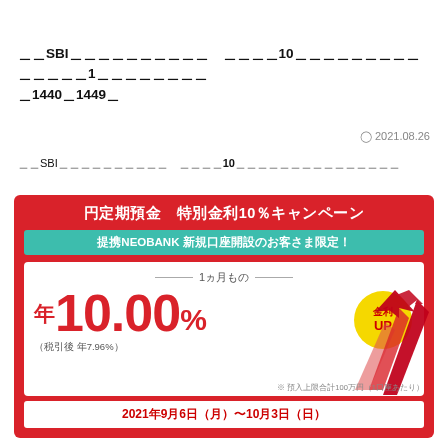｟｟SBI｟｟｟｟｟｟｟｟｟｟ ｟｟｟｟10｟｟｟｟｟｟｟｟｟｟｟｟｟｟｟1｟｟｟｟｟｟｟｟ ｟1440｟1449｟
2021.08.26
｟｟SBI｟｟｟｟｟｟｟｟｟｟ ｟｟｟｟10｟｟｟｟｟｟｟｟｟｟｟｟｟｟｟
[Figure (infographic): Red banner ad for Yen fixed deposit special interest rate 10% campaign (円定期預金 特別金利10%キャンペーン). Teal sub-banner: 提携NEOBANK 新規口座開設のお客さま限定！. White inner box shows 1ヵ月もの / 年10.00% (税引後 年7.96%) with gold 金利UP badge and red arrows. Footer: 2021年9月6日（月）〜10月3日（日）. Note: ※ 預入上限合計100万円（1口座あたり）]